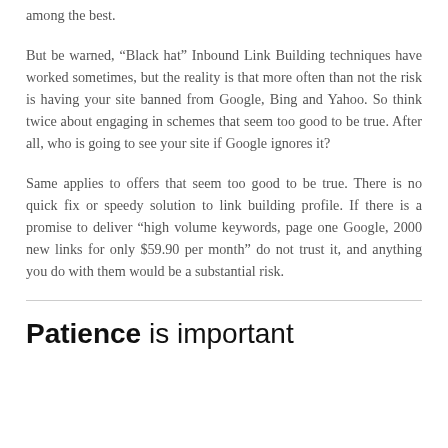among the best.
But be warned, “Black hat” Inbound Link Building techniques have worked sometimes, but the reality is that more often than not the risk is having your site banned from Google, Bing and Yahoo. So think twice about engaging in schemes that seem too good to be true. After all, who is going to see your site if Google ignores it?
Same applies to offers that seem too good to be true. There is no quick fix or speedy solution to link building profile. If there is a promise to deliver “high volume keywords, page one Google, 2000 new links for only $59.90 per month” do not trust it, and anything you do with them would be a substantial risk.
Patience is important